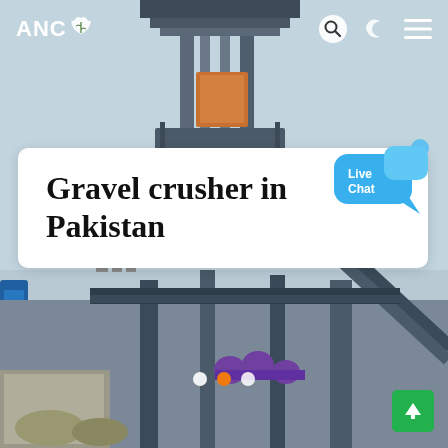[Figure (photo): Industrial gravel crusher / mining machinery equipment photographed from below against a light blue sky, with steel structural frames, conveyor components, and machinery visible both above and below the title card.]
ANC 🌿
Gravel crusher in Pakistan
[Figure (illustration): Live Chat speech bubble in blue with text 'Live Chat' and a small × close button]
[Figure (other): Carousel indicator dots: white dot, orange dot, white dot]
[Figure (other): Green scroll-to-top button with upward arrow icon]